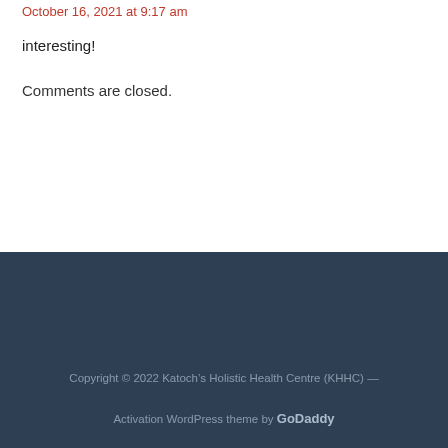October 16, 2021 at 9:17 am
interesting!
Comments are closed.
Copyright © 2022 Katoch's Holistic Health Centre (KHHC) — Activation WordPress theme by GoDaddy